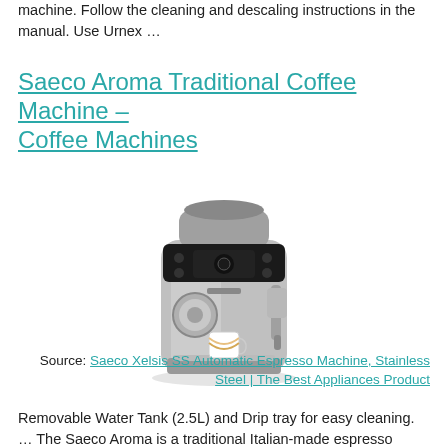machine. Follow the cleaning and descaling instructions in the manual. Use Urnex …
Saeco Aroma Traditional Coffee Machine – Coffee Machines
[Figure (photo): A stainless steel automatic espresso coffee machine (Saeco Xelsis SS) with a control panel on top, a dial and steam wand on the front, and a latte glass on the drip tray.]
Source: Saeco Xelsis SS Automatic Espresso Machine, Stainless Steel | The Best Appliances Product
Removable Water Tank (2.5L) and Drip tray for easy cleaning. … The Saeco Aroma is a traditional Italian-made espresso coffee machine